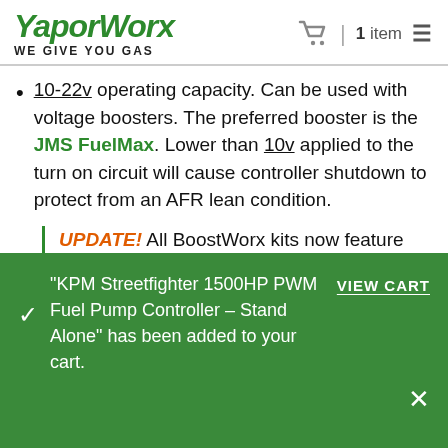VaporWorx — WE GIVE YOU GAS | 1 item cart
10-22v operating capacity. Can be used with voltage boosters. The preferred booster is the JMS FuelMax. Lower than 10v applied to the turn on circuit will cause controller shutdown to protect from an AFR lean condition.
UPDATE! All BoostWorx kits now feature the billet aluminum VaporWorx MAP sensor
"KPM Streetfighter 1500HP PWM Fuel Pump Controller – Stand Alone" has been added to your cart. VIEW CART